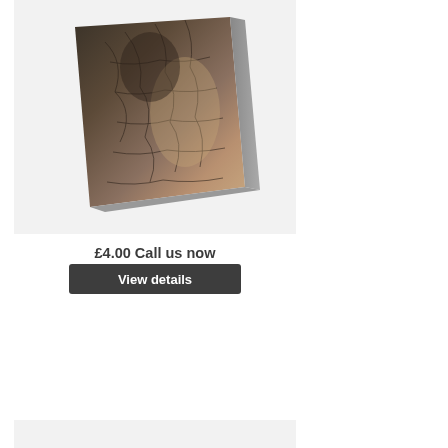[Figure (photo): A rectangular panel/tile showing a textured bark or cracked earth surface in dark brown, grey and tan tones, photographed at an angle against a light grey background.]
£4.00 Call us now
View details
[Figure (photo): Partially visible second product image box at the bottom of the page, shown as a light grey rectangle.]